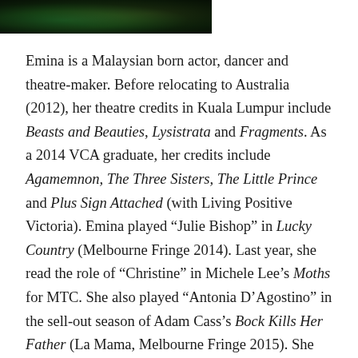[Figure (photo): Partial photo of a person visible at top of page, showing hair and teal/green background, cropped]
Emina is a Malaysian born actor, dancer and theatre-maker. Before relocating to Australia (2012), her theatre credits in Kuala Lumpur include Beasts and Beauties, Lysistrata and Fragments. As a 2014 VCA graduate, her credits include Agamemnon, The Three Sisters, The Little Prince and Plus Sign Attached (with Living Positive Victoria). Emina played “Julie Bishop” in Lucky Country (Melbourne Fringe 2014). Last year, she read the role of “Christine” in Michele Lee’s Moths for MTC. She also played “Antonia D’Agostino” in the sell-out season of Adam Cass’s Bock Kills Her Father (La Mama, Melbourne Fringe 2015). She has recently completed a diploma in creative writing, specialising in writing for performance and poetry.